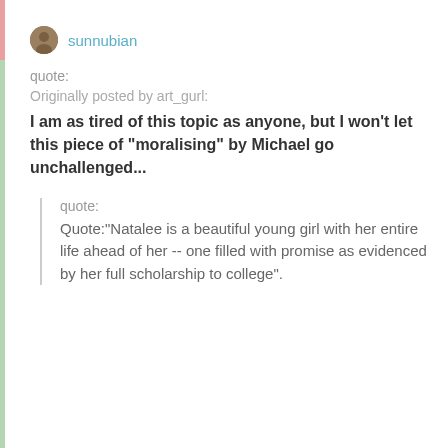sunnubian
quote:
Originally posted by art_gurl:
I am as tired of this topic as anyone, but I won't let this piece of "moralising" by Michael go unchallenged...
quote:
Quote:"Natalee is a beautiful young girl with her entire life ahead of her -- one filled with promise as evidenced by her full scholarship to college".